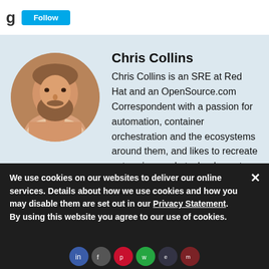[Figure (photo): Circular headshot photo of Chris Collins, a bearded man in a plaid shirt]
Chris Collins
Chris Collins is an SRE at Red Hat and an OpenSource.com Correspondent with a passion for automation, container orchestration and the ecosystems around them, and likes to recreate enterprise-grade technology at home for fun.
We use cookies on our websites to deliver our online services. Details about how we use cookies and how you may disable them are set out in our Privacy Statement. By using this website you agree to our use of cookies.